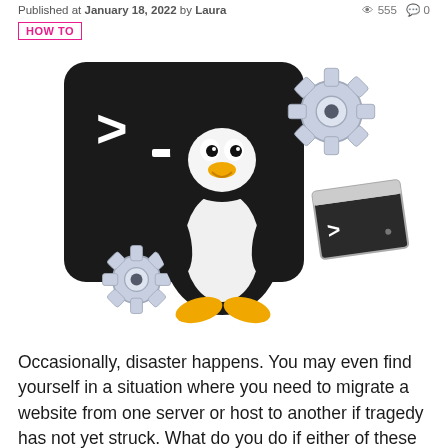Published at January 18, 2022 by Laura  555  0
HOW TO
[Figure (illustration): Linux Tux penguin mascot standing in front of a dark terminal/command-line icon with a '>' prompt and dash, flanked by two metallic gear/cog icons and a smaller terminal window in the background.]
Occasionally, disaster happens. You may even find yourself in a situation where you need to migrate a website from one server or host to another if tragedy has not yet struck. What do you do if either of these things happens? Panic? No. You